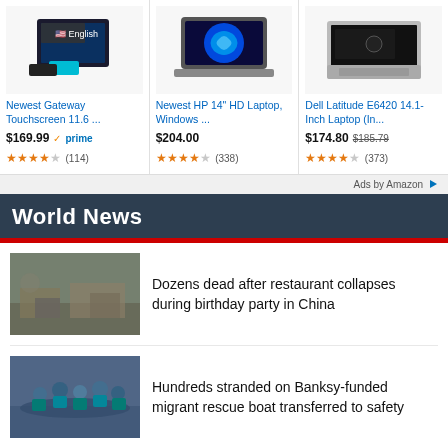[Figure (screenshot): Ad card: Newest Gateway Touchscreen 11.6 laptop product image with English flag overlay]
Newest Gateway Touchscreen 11.6 ...
$169.99 prime (114 reviews, 4 stars)
[Figure (screenshot): Ad card: Newest HP 14 HD Laptop Windows product image]
Newest HP 14" HD Laptop, Windows ...
$204.00 (338 reviews, 4 stars)
[Figure (screenshot): Ad card: Dell Latitude E6420 14.1-Inch Laptop product image]
Dell Latitude E6420 14.1-Inch Laptop (In...
$174.80 $185.79 (373 reviews, 4 stars)
Ads by Amazon
World News
Dozens dead after restaurant collapses during birthday party in China
Hundreds stranded on Banksy-funded migrant rescue boat transferred to safety